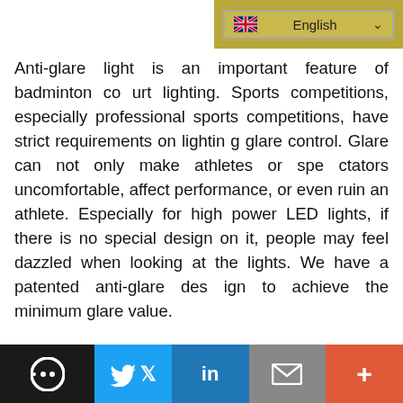[Figure (screenshot): Language selector dropdown showing UK flag and 'English' with chevron]
Anti-glare light is an important feature of badminton court lighting. Sports competitions, especially professional sports competitions, have strict requirements on lighting glare control. Glare can not only make athletes or spectators uncomfortable, affect performance, or even ruin an athlete. Especially for high power LED lights, if there is no special design on it, people may feel dazzled when looking at the lights. We have a patented anti-glare design to achieve the minimum glare value.
3.Pick out suitable hockey field lamps to avoid light pollution
[Figure (photo): Dark image partially visible at bottom of page]
Chat | Twitter | LinkedIn | Email | +